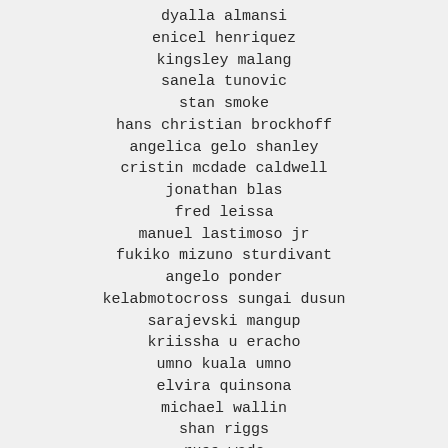dyalla almansi
enicel henriquez
kingsley malang
sanela tunovic
stan smoke
hans christian brockhoff
angelica gelo shanley
cristin mcdade caldwell
jonathan blas
fred leissa
manuel lastimoso jr
fukiko mizuno sturdivant
angelo ponder
kelabmotocross sungai dusun
sarajevski mangup
kriissha u eracho
umno kuala umno
elvira quinsona
michael wallin
shan riggs
russ wade
tobi lowrance
terry newkirk
mary mcwey